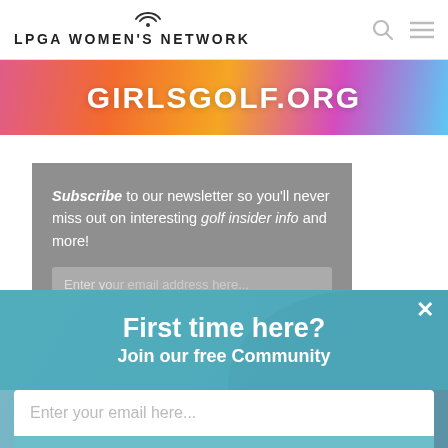LPGA WOMEN'S NETWORK
[Figure (screenshot): GIRLSGOLF.ORG banner with colorful gradient background (pink, orange, yellow, purple, blue)]
Subscribe to our newsletter so you'll never miss out on interesting golf insider info and more!
First time here?
Join our free Community
Enter your email here...
SUBSCIRBE